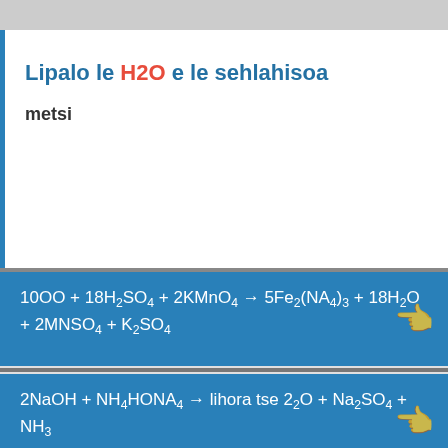Lipalo le H2O e le sehlahisoa
metsi